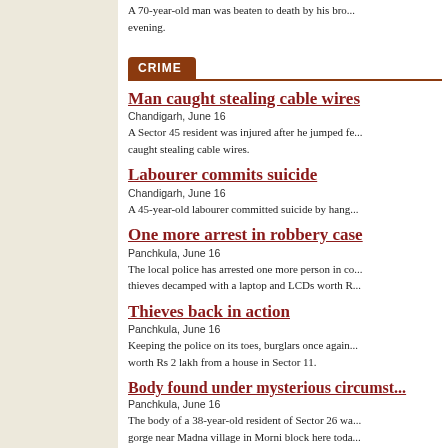A 70-year-old man was beaten to death by his brot... evening.
CRIME
Man caught stealing cable wires
Chandigarh, June 16
A Sector 45 resident was injured after he jumped fe... caught stealing cable wires.
Labourer commits suicide
Chandigarh, June 16
A 45-year-old labourer committed suicide by hang...
One more arrest in robbery case
Panchkula, June 16
The local police has arrested one more person in co... thieves decamped with a laptop and LCDs worth R...
Thieves back in action
Panchkula, June 16
Keeping the police on its toes, burglars once again... worth Rs 2 lakh from a house in Sector 11.
Body found under mysterious circumst...
Panchkula, June 16
The body of a 38-year-old resident of Sector 26 wa... gorge near Madna village in Morni block here toda...